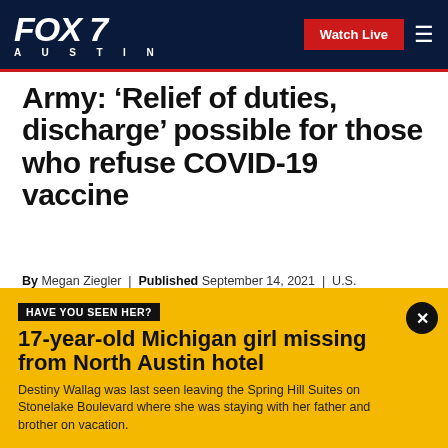FOX 7 AUSTIN | Watch Live
Army: ‘Relief of duties, discharge’ possible for those who refuse COVID-19 vaccine
By Megan Ziegler | Published September 14, 2021 | U.S. | FOX TV Digital Team
[Figure (other): Social sharing icons: Facebook, Twitter, Print, Email]
HAVE YOU SEEN HER?
17-year-old Michigan girl missing from North Austin hotel
Destiny Wallag was last seen leaving the Spring Hill Suites on Stonelake Boulevard where she was staying with her father and brother on vacation.